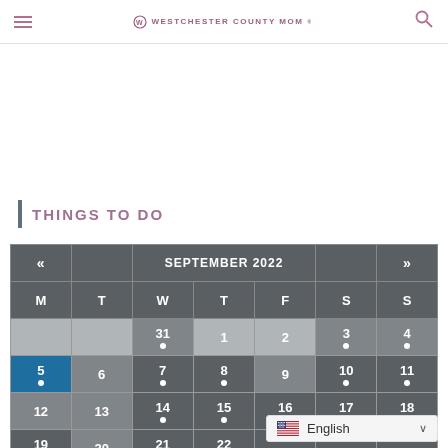WESTCHESTER COUNTY MOM
THINGS TO DO
| M | T | W | T | F | S | S |
| --- | --- | --- | --- | --- | --- | --- |
|  |  | 31 | 1 | 2 | 3 | 4 |
| 5 | 6 | 7 | 8 | 9 | 10 | 11 |
| 12 | 13 | 14 | 15 | 16 | 17 | 18 |
| 19 | 20 | 21 | 22 |  |  |  |